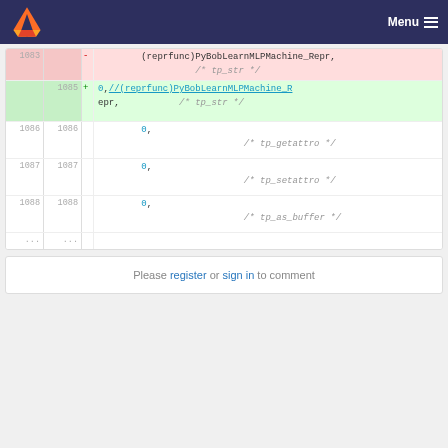GitLab navigation with Menu
Code diff showing lines 1083-1088 with deletion and addition of (reprfunc)PyBobLearnMLPMachine_Repr lines, and lines with 0, tp_getattro, tp_setattro, tp_as_buffer comments
Please register or sign in to comment